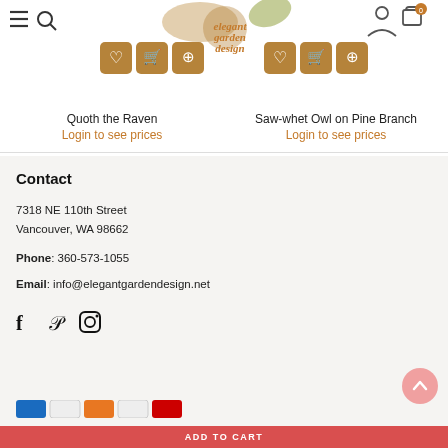[Figure (screenshot): Elegant Garden Design website header with logo, hamburger menu, search icon, account and cart icons]
[Figure (screenshot): Product listing showing two items: Quoth the Raven and Saw-whet Owl on Pine Branch, with action buttons (wishlist, add to cart, zoom)]
Quoth the Raven
Login to see prices
Saw-whet Owl on Pine Branch
Login to see prices
Contact
7318 NE 110th Street
Vancouver, WA 98662
Phone: 360-573-1055
Email: info@elegantgardendesign.net
[Figure (illustration): Social media icons: Facebook, Pinterest, Instagram]
[Figure (illustration): Payment method icons row at bottom]
ADD TO CART